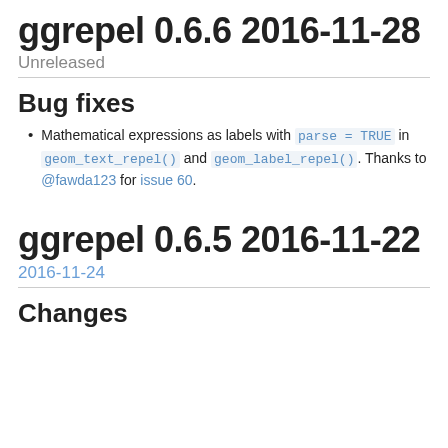ggrepel 0.6.6 2016-11-28
Unreleased
Bug fixes
Mathematical expressions as labels with parse = TRUE in geom_text_repel() and geom_label_repel(). Thanks to @fawda123 for issue 60.
ggrepel 0.6.5 2016-11-22
2016-11-24
Changes